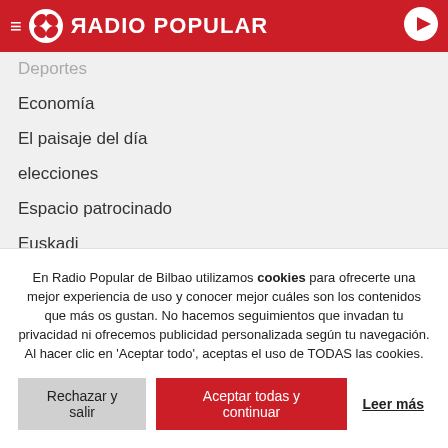RADIO POPULAR
Deportes
Economía
El paisaje del día
elecciones
Espacio patrocinado
Euskadi
Gaurko abestia
Opinión
Política
Radio Popular
Social y religión
Sociedad
Tecnología
En Radio Popular de Bilbao utilizamos cookies para ofrecerte una mejor experiencia de uso y conocer mejor cuáles son los contenidos que más os gustan. No hacemos seguimientos que invadan tu privacidad ni ofrecemos publicidad personalizada según tu navegación. Al hacer clic en 'Aceptar todo', aceptas el uso de TODAS las cookies.
Rechazar y salir | Aceptar todas y continuar | Leer más